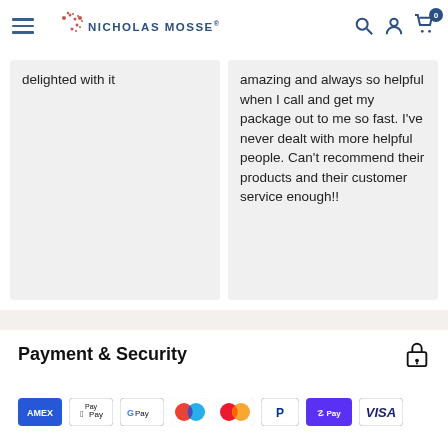Nicholas Mosse website header with hamburger menu, logo, search, account, and cart (0) icons
delighted with it
amazing and always so helpful when I call and get my package out to me so fast. I've never dealt with more helpful people. Can't recommend their products and their customer service enough!!
Payment & Security
[Figure (logo): Payment method icons: Amex, Apple Pay, Google Pay, Mastercard (two-tone circle), Mastercard, PayPal, Shop Pay, Visa]